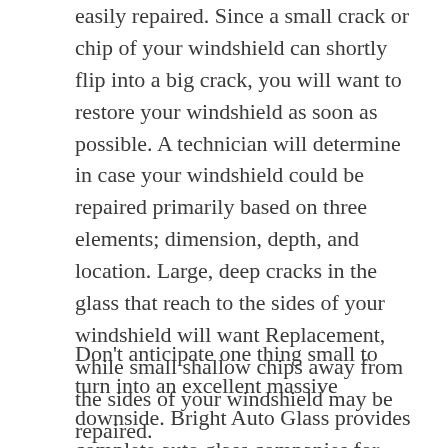easily repaired. Since a small crack or chip of your windshield can shortly flip into a big crack, you will want to restore your windshield as soon as possible. A technician will determine in case your windshield could be repaired primarily based on three elements; dimension, depth, and location. Large, deep cracks in the glass that reach to the sides of your windshield will want Replacement, while small shallow chips away from the sides of your windshield may be repaired.
Don't anticipate one thing small to turn into an excellent massive downside. Bright Auto Glass provides complete auto glass companies for your vehicle. No matter what